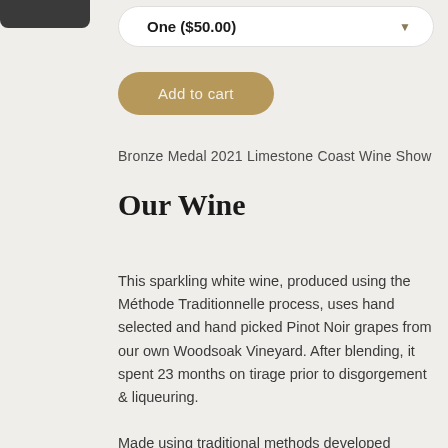[Figure (photo): Partial bottom of a dark wine bottle visible at top left corner]
One ($50.00)
Add to cart
Bronze Medal 2021 Limestone Coast Wine Show
Our Wine
This sparkling white wine, produced using the Méthode Traditionnelle process, uses hand selected and hand picked Pinot Noir grapes from our own Woodsoak Vineyard. After blending, it spent 23 months on tirage prior to disgorgement & liqueuring.
Made using traditional methods developed